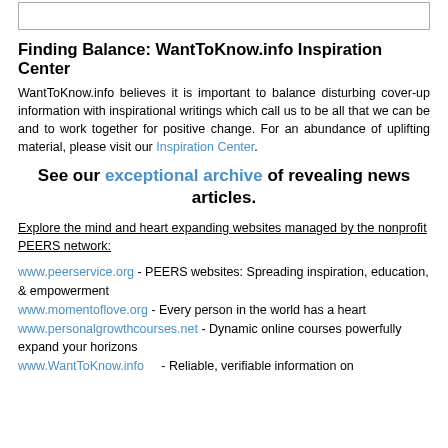[Figure (other): Empty bordered box at top of page]
Finding Balance: WantToKnow.info Inspiration Center
WantToKnow.info believes it is important to balance disturbing cover-up information with inspirational writings which call us to be all that we can be and to work together for positive change. For an abundance of uplifting material, please visit our Inspiration Center.
See our exceptional archive of revealing news articles.
Explore the mind and heart expanding websites managed by the nonprofit PEERS network:
www.peerservice.org - PEERS websites: Spreading inspiration, education, & empowerment
www.momentoflove.org - Every person in the world has a heart
www.personalgrowthcourses.net - Dynamic online courses powerfully expand your horizons
www.WantToKnow.info - Reliable, verifiable information on